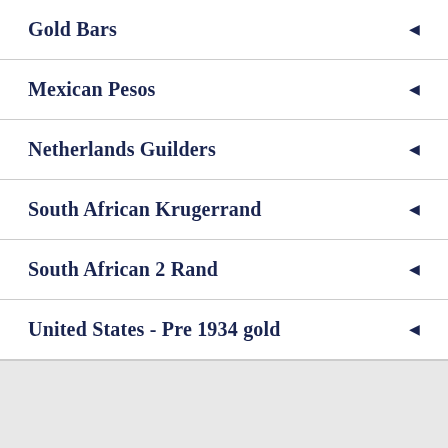Gold Bars
Mexican Pesos
Netherlands Guilders
South African Krugerrand
South African 2 Rand
United States - Pre 1934 gold